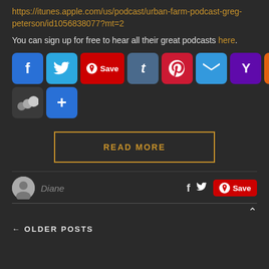https://itunes.apple.com/us/podcast/urban-farm-podcast-greg-peterson/id1056838077?mt=2
You can sign up for free to hear all their great podcasts here.
[Figure (infographic): Social media sharing buttons: Facebook, Twitter, Pinterest Save, Tumblr, Pinterest, Email, Yahoo, Yummly, Gmail, MySpace, More]
READ MORE
Diane
← OLDER POSTS